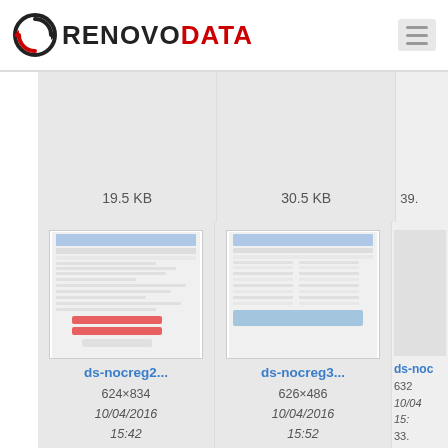[Figure (logo): RenovoData logo with circular arrow icon and red/black text]
[Figure (screenshot): File grid showing document thumbnails. Row 1: two file cards with sizes 19.5 KB and 30.5 KB (partially cropped 39. KB). Row 2: ds-nocreg2... (624x834, 10/04/2016 15:42, 113.9 KB), ds-nocreg3... (626x486, 10/04/2016 15:52, 68.1 KB), ds-noc... (632..., 10/04..., 15:..., 33. KB). Row 3: partial cards with Word DOCX icon and screenshot thumbnail.]